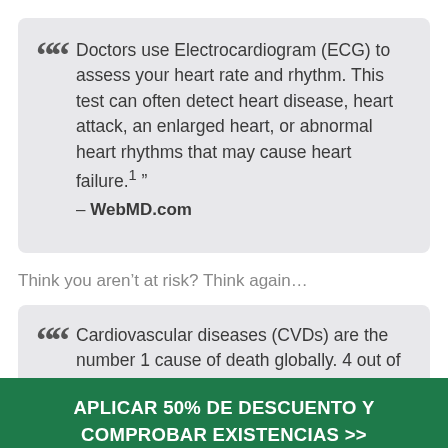Doctors use Electrocardiogram (ECG) to assess your heart rate and rhythm. This test can often detect heart disease, heart attack, an enlarged heart, or abnormal heart rhythms that may cause heart failure.¹ " – WebMD.com
Think you aren't at risk? Think again...
Cardiovascular diseases (CVDs) are the number 1 cause of death globally. 4 out of 5 or 85% of CVD deaths are due to heart attacks and strokes.² " – the World Health Organization
APLICAR 50% DE DESCUENTO Y COMPROBAR EXISTENCIAS >>